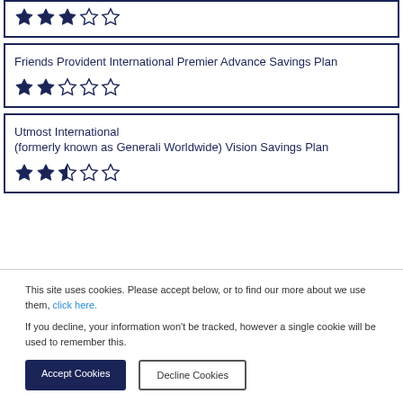★★★☆☆ (3 stars out of 5, partial top card)
Friends Provident International Premier Advance Savings Plan — 2 stars out of 5
Utmost International (formerly known as Generali Worldwide) Vision Savings Plan — 2.5 stars out of 5
This site uses cookies. Please accept below, or to find our more about we use them, click here.

If you decline, your information won't be tracked, however a single cookie will be used to remember this.